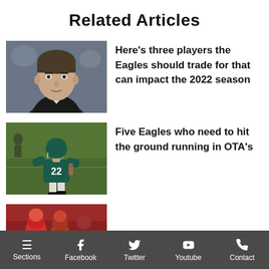Related Articles
[Figure (photo): Man in dark suit, close-up portrait, blurred background]
Here's three players the Eagles should trade for that can impact the 2022 season
[Figure (photo): Eagles player #22 on football field in teal uniform]
Five Eagles who need to hit the ground running in OTA's
[Figure (photo): Partial image of football players, partially cut off at bottom]
Sections  Facebook  Twitter  Youtube  Contact